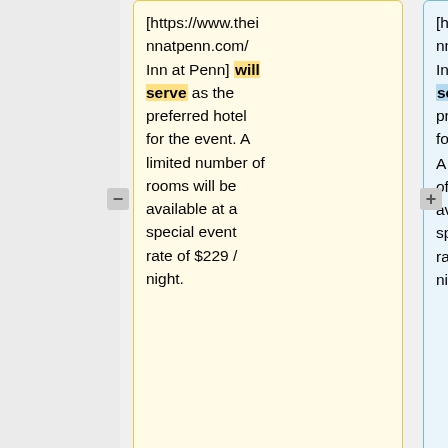[https://www.theinnatpenn.com/Inn at Penn] will serve as the preferred hotel for the event. A limited number of rooms will be available at a special event rate of $229 / night.
[https://www.theinnatpenn.com/Inn at Penn] served as the preferred hotel for the event. <!-- A limited number of rooms will be available at a special event rate of $229 / night.
'''To make use of this reduced rate, book your room(s) from our event page [http://www.hilton.com/en/hi/groups/personalized/P/
'''To make use of this reduced rate, book your room(s) from our event page [http://www.hilton.com/en/hi/groups/personalized/P/